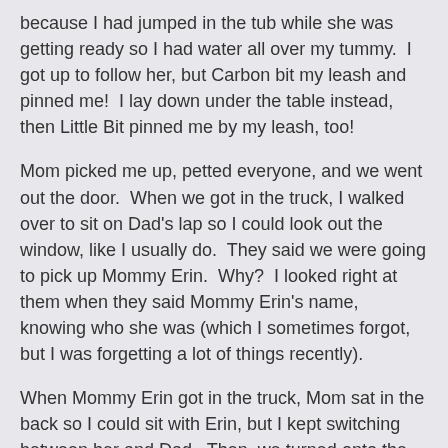because I had jumped in the tub while she was getting ready so I had water all over my tummy.  I got up to follow her, but Carbon bit my leash and pinned me!  I lay down under the table instead, then Little Bit pinned me by my leash, too!
Mom picked me up, petted everyone, and we went out the door.  When we got in the truck, I walked over to sit on Dad's lap so I could look out the window, like I usually do.  They said we were going to pick up Mommy Erin.  Why?  I looked right at them when they said Mommy Erin's name, knowing who she was (which I sometimes forgot, but I was forgetting a lot of things recently).
When Mommy Erin got in the truck, Mom sat in the back so I could sit with Erin, but I kept switching between her and Dad.  Then, we turned onto the street where my doctor is, and I knew that's where we were going!  I went over to sit in Erin's lap, looking out the window, until we got there, then I looked straight through the windshield at the doctor's office!
We all got out of the car, and I wanted to walk.  Nope, Mom insisted on carrying me.  In we went, straight into a room